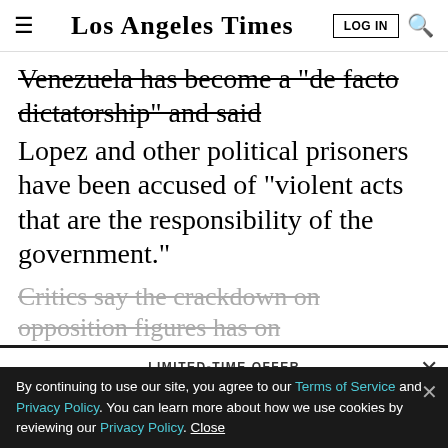Los Angeles Times
Venezuela has become a "de facto dictatorship" and said Lopez and other political prisoners have been accused of "violent acts that are the responsibility of the government."
Critics say the crackdown on opposition figures has on
LIMITED-TIME OFFER
$1 for 6 Months
SUBSCRIBE NOW
By continuing to use our site, you agree to our Terms of Service and Privacy Policy. You can learn more about how we use cookies by reviewing our Privacy Policy. Close